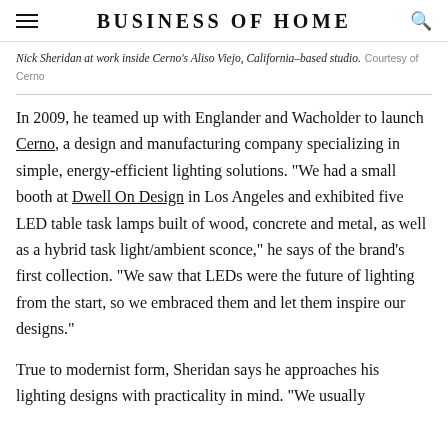BUSINESS OF HOME
Nick Sheridan at work inside Cerno's Aliso Viejo, California–based studio.  Courtesy of Cerno
In 2009, he teamed up with Englander and Wacholder to launch Cerno, a design and manufacturing company specializing in simple, energy-efficient lighting solutions. "We had a small booth at Dwell On Design in Los Angeles and exhibited five LED table task lamps built of wood, concrete and metal, as well as a hybrid task light/ambient sconce," he says of the brand's first collection. "We saw that LEDs were the future of lighting from the start, so we embraced them and let them inspire our designs."
True to modernist form, Sheridan says he approaches his lighting designs with practicality in mind. "We usually